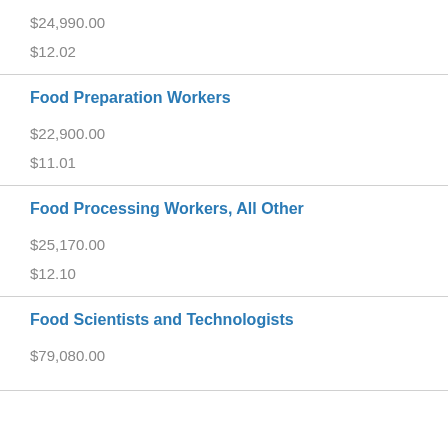| $24,990.00 | $12.02 |
| Food Preparation Workers | $22,900.00 | $11.01 |
| Food Processing Workers, All Other | $25,170.00 | $12.10 |
| Food Scientists and Technologists | $79,080.00 |